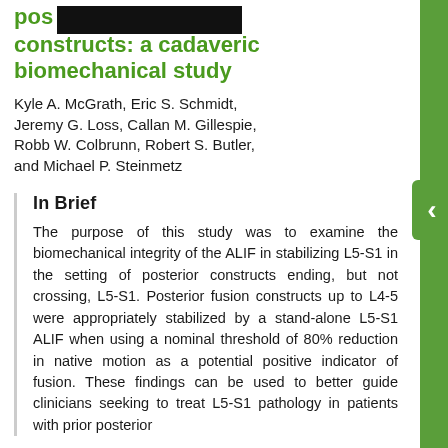pos[redacted] constructs: a cadaveric biomechanical study
Kyle A. McGrath, Eric S. Schmidt, Jeremy G. Loss, Callan M. Gillespie, Robb W. Colbrunn, Robert S. Butler, and Michael P. Steinmetz
In Brief
The purpose of this study was to examine the biomechanical integrity of the ALIF in stabilizing L5-S1 in the setting of posterior constructs ending, but not crossing, L5-S1. Posterior fusion constructs up to L4-5 were appropriately stabilized by a stand-alone L5-S1 ALIF when using a nominal threshold of 80% reduction in native motion as a potential positive indicator of fusion. These findings can be used to better guide clinicians seeking to treat L5-S1 pathology in patients with prior posterior